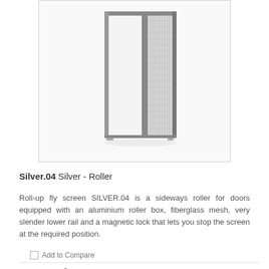[Figure (photo): Roller fly screen door product photo showing a partially open sliding screen door with aluminium frame and fiberglass mesh, on white background]
Silver.04 Silver - Roller
Roll-up fly screen SILVER.04 is a sideways roller for doors equipped with an aluminium roller box, fiberglass mesh, very slender lower rail and a magnetic lock that lets you stop the screen at the required position.
Add to Compare
£299.99 / m²